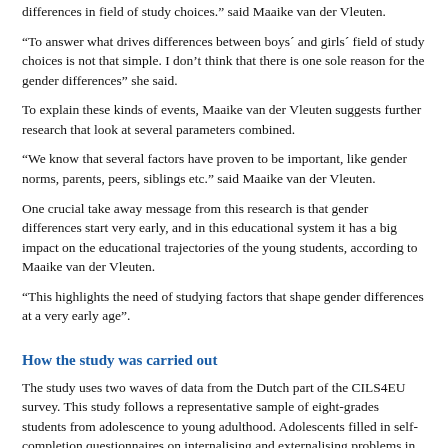differences in field of study choices.” said Maaike van der Vleuten.
“To answer what drives differences between boys´ and girls´ field of study choices is not that simple. I don’t think that there is one sole reason for the gender differences” she said.
To explain these kinds of events, Maaike van der Vleuten suggests further research that look at several parameters combined.
“We know that several factors have proven to be important, like gender norms, parents, peers, siblings etc.” said Maaike van der Vleuten.
One crucial take away message from this research is that gender differences start very early, and in this educational system it has a big impact on the educational trajectories of the young students, according to Maaike van der Vleuten.
“This highlights the need of studying factors that shape gender differences at a very early age”.
How the study was carried out
The study uses two waves of data from the Dutch part of the CILS4EU survey. This study follows a representative sample of eight-grades students from adolescence to young adulthood. Adolescents filled in self-completion questionnaires on internalising and externalising problems in their first (age 14-15, grade 8) and second year of secondary education (age 15-16, grade 9). In both